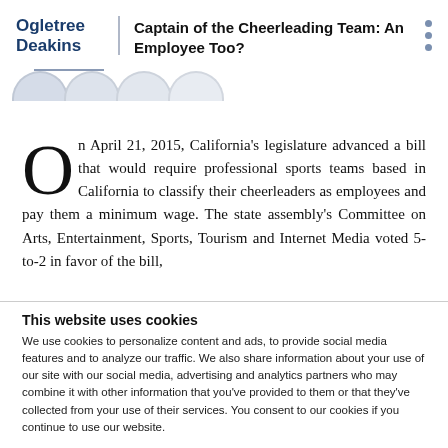Ogletree Deakins | Captain of the Cheerleading Team: An Employee Too?
On April 21, 2015, California's legislature advanced a bill that would require professional sports teams based in California to classify their cheerleaders as employees and pay them a minimum wage. The state assembly's Committee on Arts, Entertainment, Sports, Tourism and Internet Media voted 5-to-2 in favor of the bill,
This website uses cookies
We use cookies to personalize content and ads, to provide social media features and to analyze our traffic. We also share information about your use of our site with our social media, advertising and analytics partners who may combine it with other information that you've provided to them or that they've collected from your use of their services. You consent to our cookies if you continue to use our website.